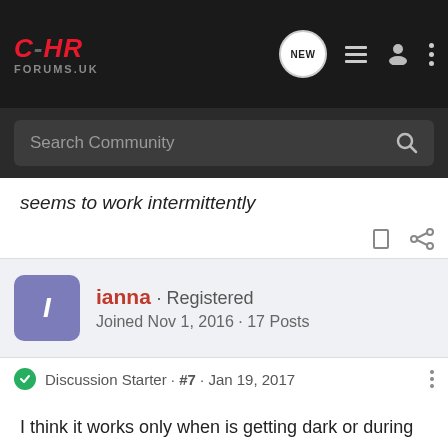[Figure (screenshot): C-HR Forums UK logo and navigation bar with search community input]
seems to work intermittently
ianna · Registered
Joined Nov 1, 2016 · 17 Posts
Discussion Starter · #7 · Jan 19, 2017
I think it works only when is getting dark or during night. It might have sth in common with twilights sensors (and automatic position for lights) - mine for sure are not "on" during the day.